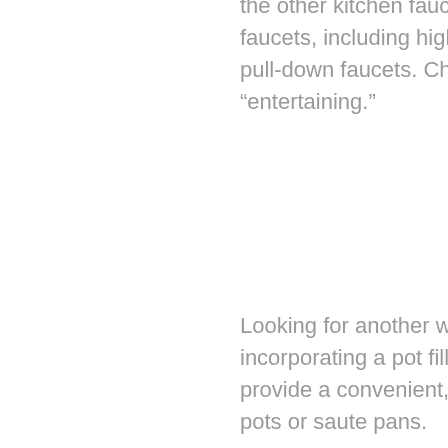the other kitchen faucets. Danze offers several types of bar faucets, including high-arc options, small-scale faucets and pull-down faucets. Choose a style that will make this space “entertaining.”
Looking for another water source without a full sink? Try incorporating a pot filler faucet at your stovetop. These faucets provide a convenient, safe way to add more water to boiling pots or saute pans.
As you plan your kitchen design and looking for ways to maximize your work areas, don’t be shy about making your sinks, work surfaces and water sources work hard for you. However, since this space serves as the